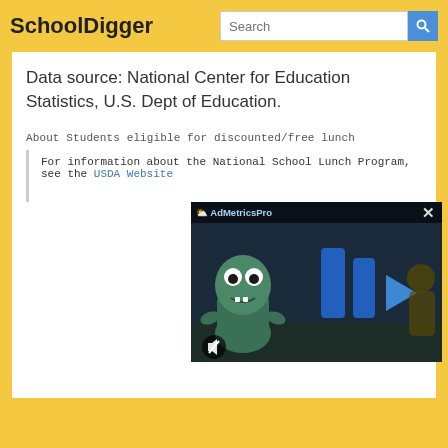SchoolDigger
Data source: National Center for Education Statistics, U.S. Dept of Education.
About Students eligible for discounted/free lunch
For information about the National School Lunch Program, see the USDA Website
[Figure (screenshot): AdMetricsPro video advertisement overlay showing animated monster character with blue play button shapes, mute button, and close X button]